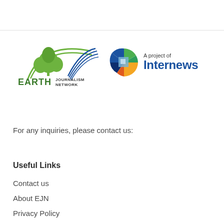[Figure (logo): EARTH Journalism Network logo with green tree and arc, plus Internews logo circle with text 'A project of Internews']
For any inquiries, please contact us:
Useful Links
Contact us
About EJN
Privacy Policy
Connect